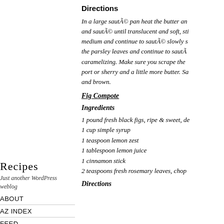Directions
In a large sauté pan heat the butter and sauté until translucent and soft, sti medium and continue to sauté slowly s the parsley leaves and continue to saut caramelizing. Make sure you scrape the port or sherry and a little more butter. Sa and brown.
Fig Compote
Ingredients
1 pound fresh black figs, ripe & sweet, de
1 cup simple syrup
1 teaspoon lemon zest
1 tablespoon lemon juice
1 cinnamon stick
2 teaspoons fresh rosemary leaves, chop
Directions
Recipes
Just another WordPress weblog
ABOUT
AZ INDEX
FEED